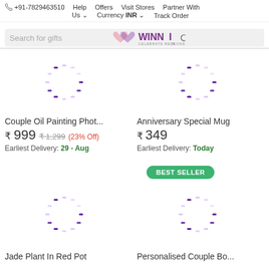+91-7829463510  Help  Offers  Visit Stores  Partner With Us  Currency INR  Track Order
[Figure (screenshot): Search bar with WINNI logo - Search for gifts input with magnifying glass icon and WINNI CELEBRATE RELATIONS logo]
[Figure (other): Loading spinner (purple dots circle) for Couple Oil Painting Photo product]
Couple Oil Painting Phot...
₹ 999  ₹ 1,299  (23% Off)
Earliest Delivery: 29 - Aug
[Figure (other): Loading spinner (purple dots circle) for Anniversary Special Mug product]
Anniversary Special Mug
₹ 349
Earliest Delivery: Today
BEST SELLER
[Figure (other): Loading spinner (purple dots circle) for Jade Plant In Red Pot product]
Jade Plant In Red Pot
[Figure (other): Loading spinner (purple dots circle) for Personalised Couple Bo... product]
Personalised Couple Bo...